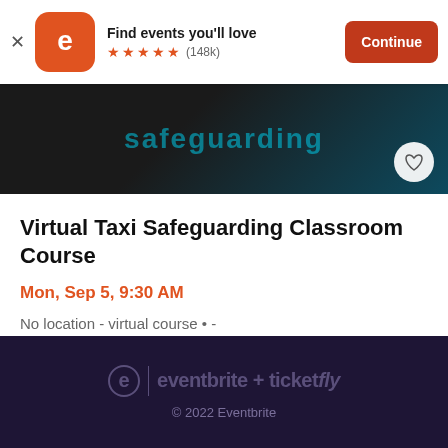[Figure (screenshot): Top app download banner with Eventbrite logo, 'Find events you'll love' text, 5 orange stars, (148k) reviews, and a red 'Continue' button]
[Figure (photo): Hero banner image showing safeguarding course branding in dark background with blue/teal text overlay]
Virtual Taxi Safeguarding Classroom Course
Mon, Sep 5, 9:30 AM
No location - virtual course • -
£25
eventbrite + ticketfly
© 2022 Eventbrite